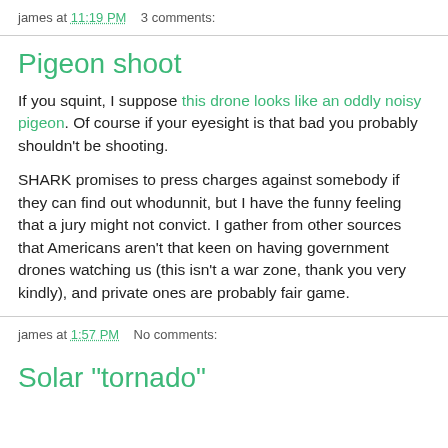james at 11:19 PM    3 comments:
Pigeon shoot
If you squint, I suppose this drone looks like an oddly noisy pigeon. Of course if your eyesight is that bad you probably shouldn't be shooting.
SHARK promises to press charges against somebody if they can find out whodunnit, but I have the funny feeling that a jury might not convict. I gather from other sources that Americans aren't that keen on having government drones watching us (this isn't a war zone, thank you very kindly), and private ones are probably fair game.
james at 1:57 PM    No comments:
Solar "tornado"